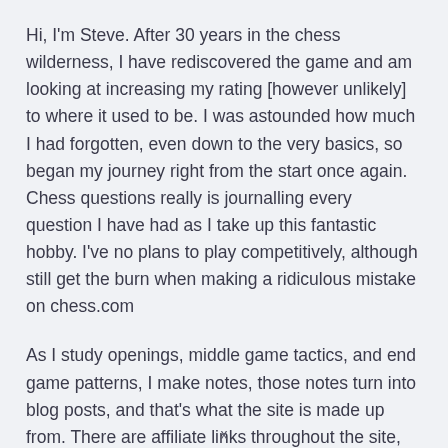Hi, I'm Steve. After 30 years in the chess wilderness, I have rediscovered the game and am looking at increasing my rating [however unlikely] to where it used to be. I was astounded how much I had forgotten, even down to the very basics, so began my journey right from the start once again. Chess questions really is journalling every question I have had as I take up this fantastic hobby. I've no plans to play competitively, although still get the burn when making a ridiculous mistake on chess.com
As I study openings, middle game tactics, and end game patterns, I make notes, those notes turn into blog posts, and that's what the site is made up from. There are affiliate links throughout the site, and I
x